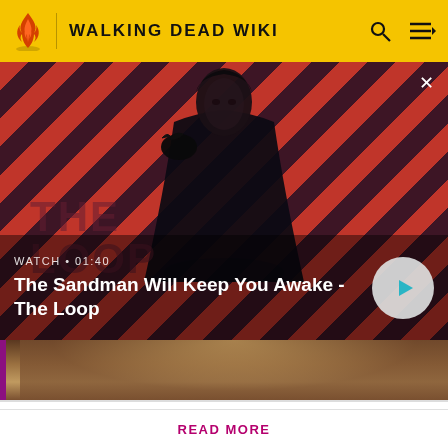WALKING DEAD WIKI
[Figure (screenshot): Video banner showing a man in dark clothing with a crow on his shoulder, against a red and dark diagonal stripe background. Text overlay reads WATCH • 01:40 and The Sandman Will Keep You Awake - The Loop, with a play button circle on the right.]
Attention! Please be aware that spoilers are not allowed on the wiki and a violation of this policy may result in a ban.
READ MORE